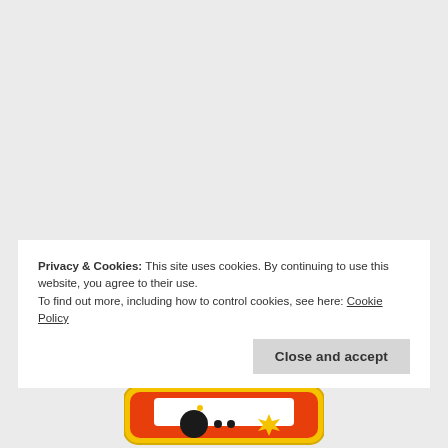Privacy & Cookies: This site uses cookies. By continuing to use this website, you agree to their use.
To find out more, including how to control cookies, see here: Cookie Policy
[Figure (illustration): Red and yellow rounded rectangle graphic with a bomb/explosion illustration visible at the bottom of the page]